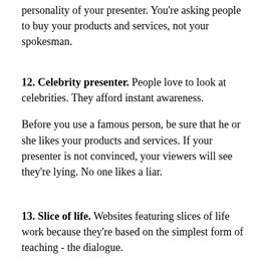personality of your presenter. You're asking people to buy your products and services, not your spokesman.
12. Celebrity presenter. People love to look at celebrities. They afford instant awareness.
Before you use a famous person, be sure that he or she likes your products and services. If your presenter is not convinced, your viewers will see they're lying. No one likes a liar.
13. Slice of life. Websites featuring slices of life work because they're based on the simplest form of teaching - the dialogue.
Questions from a Doubter are countered by persuasive